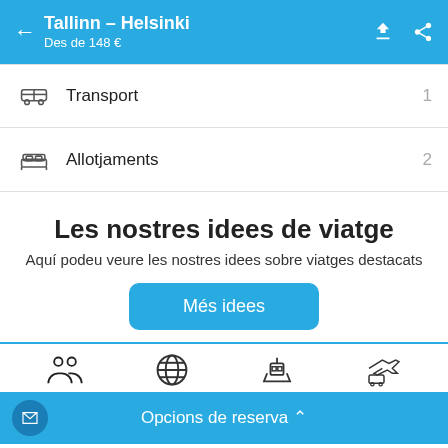Tallinn – Helsinki
Des de 148 €
Transport  1
Allotjaments  2
Les nostres idees de viatge
Aquí podeu veure les nostres idees sobre viatges destacats
Més idees
Opcions de reserva ^